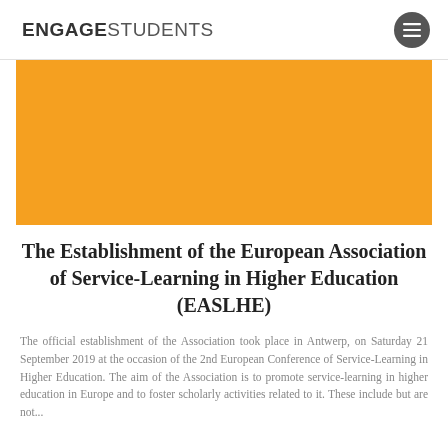ENGAGESTUDENTS
[Figure (other): Orange banner image area]
The Establishment of the European Association of Service-Learning in Higher Education (EASLHE)
The official establishment of the Association took place in Antwerp, on Saturday 21 September 2019 at the occasion of the 2nd European Conference of Service-Learning in Higher Education. The aim of the Association is to promote service-learning in higher education in Europe and to foster scholarly activities related to it. These include but are not...